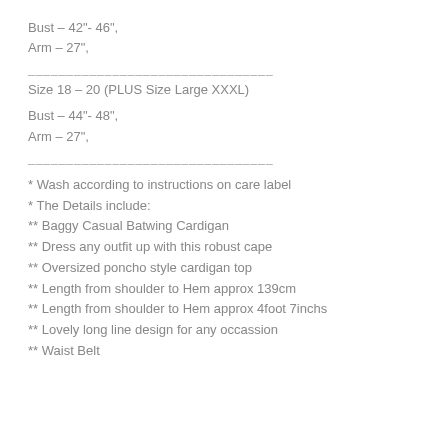Bust – 42"- 46",
Arm – 27",
________________________________
Size 18 – 20 (PLUS Size Large XXXL)
Bust – 44"- 48",
Arm – 27",
________________________________
* Wash according to instructions on care label
* The Details include:
** Baggy Casual Batwing Cardigan
** Dress any outfit up with this robust cape
** Oversized poncho style cardigan top
** Length from shoulder to Hem approx 139cm
** Length from shoulder to Hem approx 4foot 7inchs
** Lovely long line design for any occassion
** Waist Belt